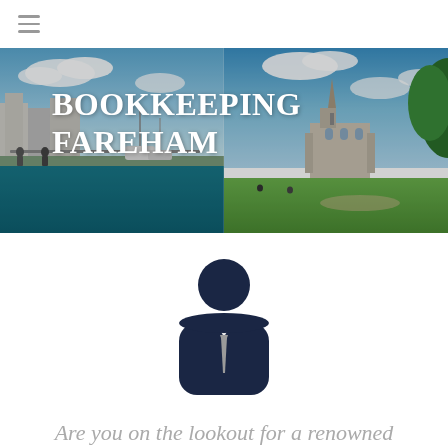≡
[Figure (photo): Hero banner with a panoramic cityscape photo showing a marina waterfront on the left and a cathedral park on the right, with the title 'BOOKKEEPING FAREHAM' overlaid in white bold serif text]
BOOKKEEPING FAREHAM
[Figure (illustration): Dark navy blue silhouette icon of a business person in a suit with a grey tie, consisting of a circular head above a rounded rectangular body]
Are you on the lookout for a renowned company to assist you with the laborious task of